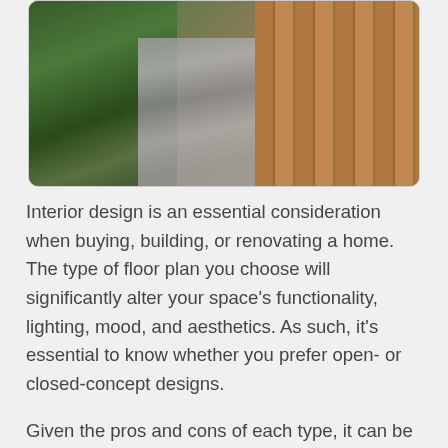[Figure (photo): Interior room photo showing green houseplants on the left, a patterned grey geometric rug in the center, and warm honey-toned hardwood flooring on the right, with chairs visible in the background.]
Interior design is an essential consideration when buying, building, or renovating a home. The type of floor plan you choose will significantly alter your space's functionality, lighting, mood, and aesthetics. As such, it's essential to know whether you prefer open- or closed-concept designs.
Given the pros and cons of each type, it can be overwhelming to know which design is best for you. But, not to worry; this is not a choice you want to rush! That's why we've put together a two-part blog series exploring everything you